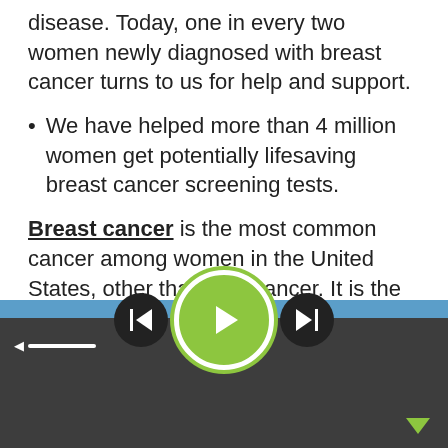disease. Today, one in every two women newly diagnosed with breast cancer turns to us for help and support.
We have helped more than 4 million women get potentially lifesaving breast cancer screening tests.
Breast cancer is the most common cancer among women in the United States, other than skin cancer. It is the second leading cause of cancer death in women, after lung cancer.
The chance of a woman having invasive breast cancer some time during her life is a little less 1 in 8. The
[Figure (screenshot): Audio/media player controls with previous, play, and next buttons on a dark background with a blue bar and volume control]